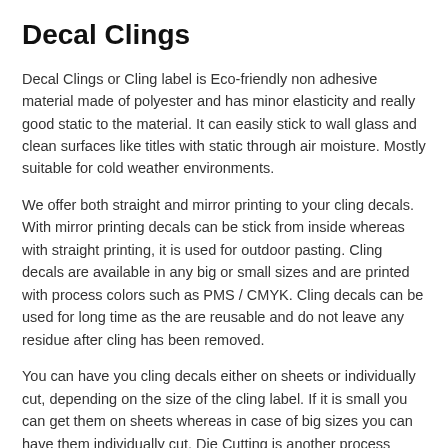Decal Clings
Decal Clings or Cling label is Eco-friendly non adhesive material made of polyester and has minor elasticity and really good static to the material. It can easily stick to wall glass and clean surfaces like titles with static through air moisture. Mostly suitable for cold weather environments.
We offer both straight and mirror printing to your cling decals. With mirror printing decals can be stick from inside whereas with straight printing, it is used for outdoor pasting. Cling decals are available in any big or small sizes and are printed with process colors such as PMS / CMYK. Cling decals can be used for long time as the are reusable and do not leave any residue after cling has been removed.
You can have you cling decals either on sheets or individually cut, depending on the size of the cling label. If it is small you can get them on sheets whereas in case of big sizes you can have them individually cut. Die Cutting is another process which is used to cut